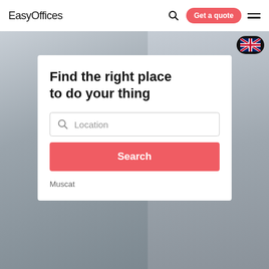EasyOffices — Get a quote — Search — Menu
[Figure (screenshot): Office background photo showing a bright modern office space with windows on the left and a desk with books/magazines on the right]
Find the right place to do your thing
Location (search field placeholder)
Search
Muscat